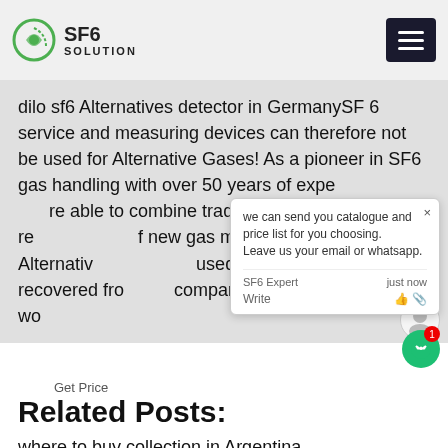SF6 SOLUTION
dilo sf6 Alternatives detector in GermanySF 6 service and measuring devices can therefore not be used for Alternative Gases! As a pioneer in SF6 gas handling with over 50 years of experience, we are able to combine tradition with the requirements of new gas mixtures. Even if Alternative Gases are used, the gas must be recovered from the compartment during service work.
we can send you catalogue and price list for you choosing.
Leave us your email or whatsapp.
SF6 Expert  just now
Write
Get Price
Related Posts:
where to buy collection in Argentina
how much sf6 mixture Maintenance
cheap sulfur hexafluoride control in Switzerland
bosean sf6 Alternatives filling in Bolivia
cheap sulfur hexafluoride filling in Philippines